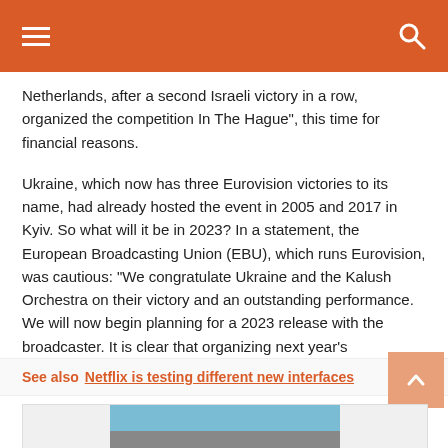menu | search
Netherlands, after a second Israeli victory in a row, organized the competition In The Hague", this time for financial reasons.
Ukraine, which now has three Eurovision victories to its name, had already hosted the event in 2005 and 2017 in Kyiv. So what will it be in 2023? In a statement, the European Broadcasting Union (EBU), which runs Eurovision, was cautious: “We congratulate Ukraine and the Kalush Orchestra on their victory and an outstanding performance. We will now begin planning for a 2023 release with the broadcaster. It is clear that organizing next year’s competition presents unique challenges.”
See also  Netflix is testing different new interfaces
[Figure (photo): Partial view of a person, cropped at bottom of page]